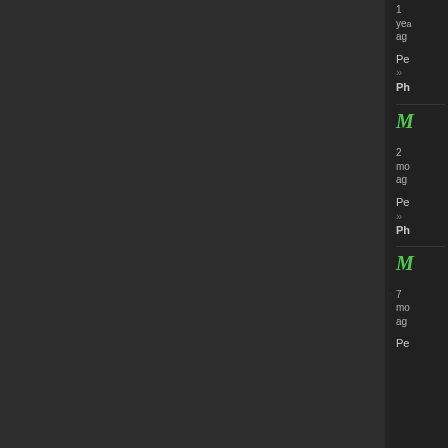[Figure (screenshot): Dark UI screenshot showing a sidebar panel with user entries. Each entry shows a green italic M icon, timestamp (e.g. '1 year ago', '2 months ago', '7 months ago'), a 'Pe' label, a right angle quote '»', and 'Ph' text. The left portion is a dark gray panel. Vertical and horizontal dividers separate sections.]